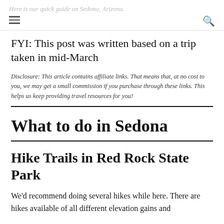Here is our quick guide on Sedona, Arizona.
FYI: This post was written based on a trip taken in mid-March
Disclosure: This article contains affiliate links. That means that, at no cost to you, we may get a small commission if you purchase through these links. This helps us keep providing travel resources for you!
What to do in Sedona
Hike Trails in Red Rock State Park
We'd recommend doing several hikes while here. There are hikes available of all different elevation gains and